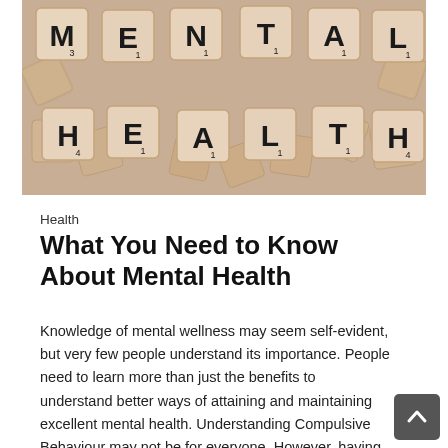[Figure (photo): Scrabble letter tiles spelling out 'MENTAL HEALTH' arranged on a wooden surface. Tiles show letters M, E, N, T, A, L on top row and H, E, A, L, T, H on bottom row with Scrabble point values.]
Health
What You Need to Know About Mental Health
Knowledge of mental wellness may seem self-evident, but very few people understand its importance. People need to learn more than just the benefits to understand better ways of attaining and maintaining excellent mental health. Understanding Compulsive Behaviour may not be for everyone. However, having basic knowledge about psychological wellness is